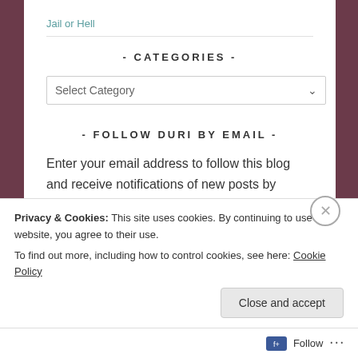Jail or Hell
- CATEGORIES -
Select Category
- FOLLOW DURI BY EMAIL -
Enter your email address to follow this blog and receive notifications of new posts by email.
Enter your email address
Privacy & Cookies: This site uses cookies. By continuing to use this website, you agree to their use.
To find out more, including how to control cookies, see here: Cookie Policy
Close and accept
Follow